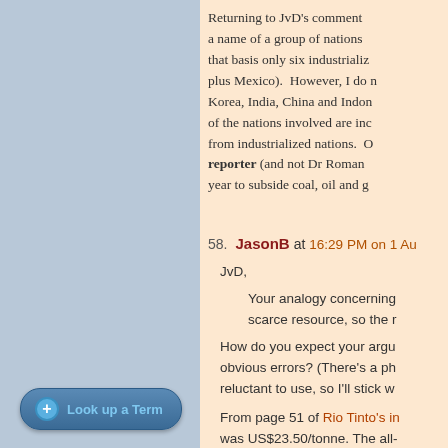Returning to JvD's comment ... a name of a group of nations ... that basis only six industrializ... plus Mexico). However, I do ... Korea, India, China and Indon... of the nations involved are ind... from industrialized nations. C... reporter (and not Dr Roman... year to subside coal, oil and g...
58. JasonB at 16:29 PM on 1 Au...
JvD,
Your analogy concerning... scarce resource, so the ...
How do you expect your argu... obvious errors? (There's a ph... reluctant to use, so I'll stick w...
From page 51 of Rio Tinto's i... was US$23.50/tonne. The all-...